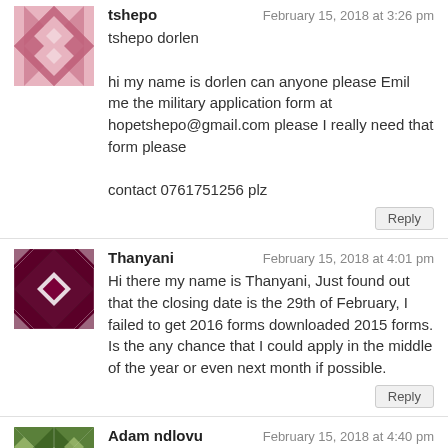[Figure (illustration): Pink/mauve quilted geometric avatar for tshepo]
tshepo
February 15, 2018 at 3:26 pm
tshepo dorlen
hi my name is dorlen can anyone please Emil me the military application form at hopetshepo@gmail.com please I really need that form please
contact 0761751256 plz
Reply
[Figure (illustration): Dark maroon/black geometric quilted avatar for Thanyani]
Thanyani
February 15, 2018 at 4:01 pm
Hi there my name is Thanyani, Just found out that the closing date is the 29th of February, I failed to get 2016 forms downloaded 2015 forms. Is the any chance that I could apply in the middle of the year or even next month if possible.
Reply
[Figure (illustration): Green geometric quilted avatar for Adam ndlovu]
Adam ndlovu
February 15, 2018 at 4:40 pm
i would like to work at SA Army with all My heart may My form be blessed nd be selected
Reply
[Figure (illustration): Olive/yellow-green avatar for Tebogo (partially visible)]
Tebogo
February 15, 2018 at 5:49 pm